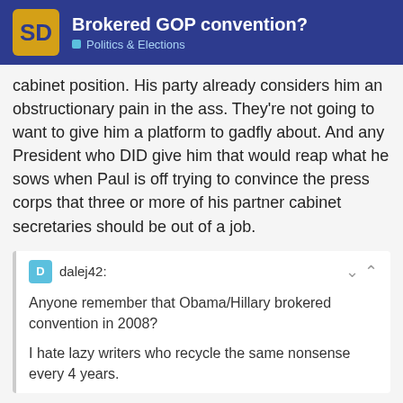Brokered GOP convention? — Politics & Elections
cabinet position. His party already considers him an obstructionary pain in the ass. They're not going to want to give him a platform to gadfly about. And any President who DID give him that would reap what he sows when Paul is off trying to convince the press corps that three or more of his partner cabinet secretaries should be out of a job.
dalej42: Anyone remember that Obama/Hillary brokered convention in 2008?

I hate lazy writers who recycle the same nonsense every 4 years.
Note, also, that this is coming out during the lull after Super Tuesday. This is the time where writers have to find SOMETHING to write about. Things are happening fast enough to keep the reporters occupied. (Go figure it)